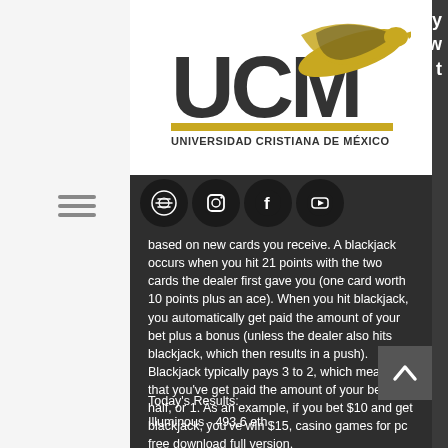[Figure (logo): Universidad Cristiana de México (UCM) logo with eagle and gold swoosh, text 'UNIVERSIDAD CRISTIANA DE MÉXICO' below]
[Figure (infographic): Four social media icons in circular black buttons: Spotify, Instagram, Facebook, YouTube]
based on new cards you receive. A blackjack occurs when you hit 21 points with the two cards the dealer first gave you (one card worth 10 points plus an ace). When you hit blackjack, you automatically get paid the amount of your bet plus a bonus (unless the dealer also hits blackjack, which then results in a push). Blackjack typically pays 3 to 2, which means that you've get paid the amount of your bet plus half, or 1. As an example, if you bet $10 and get blackjack, you've win $15, casino games for pc free download full version.
Today's Results:
Illuminous - 493.6 eth